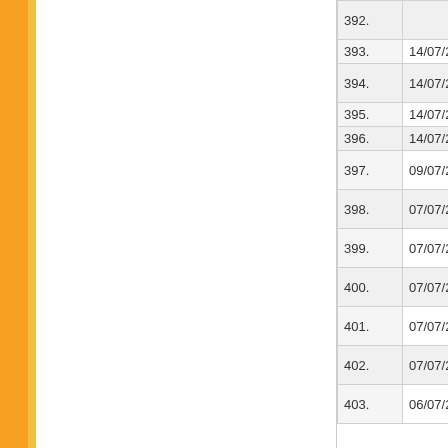| No. | Date | Title |
| --- | --- | --- |
| 392. |  | of Design & MPHIL/PHD |
| 393. | 14/07/2018 | Question Bo |
| 394. | 14/07/2018 | Question Bo Excellence M |
| 395. | 14/07/2018 | Question Bo |
| 396. | 14/07/2018 | Question Bo |
| 397. | 09/07/2018 | Final Answe 2018 Set A,B |
| 398. | 07/07/2018 | JOINT B.ED A,B,C and D |
| 399. | 07/07/2018 | JOINT B.ED SET D (Page |
| 400. | 07/07/2018 | JOINT B.ED SET D (Page |
| 401. | 07/07/2018 | JOINT B.ED SET C (Page |
| 402. | 07/07/2018 | JOINT B.ED SET B (Page |
| 403. | 06/07/2018 | JOINT B.ED SET A |